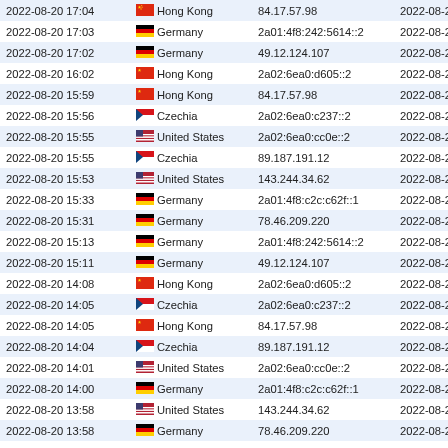| Date/Time | Country | IP Address | Date/Time 2 |
| --- | --- | --- | --- |
| 2022-08-20 17:04 | Hong Kong | 84.17.57.98 | 2022-08-20 16:44 |
| 2022-08-20 17:03 | Germany | 2a01:4f8:242:5614::2 | 2022-08-20 16:44 |
| 2022-08-20 17:02 | Germany | 49.12.124.107 | 2022-08-20 16:44 |
| 2022-08-20 16:02 | Hong Kong | 2a02:6ea0:d605::2 | 2022-08-20 15:48 |
| 2022-08-20 15:59 | Hong Kong | 84.17.57.98 | 2022-08-20 15:48 |
| 2022-08-20 15:56 | Czechia | 2a02:6ea0:c237::2 | 2022-08-20 15:48 |
| 2022-08-20 15:55 | United States | 2a02:6ea0:cc0e::2 | 2022-08-20 15:48 |
| 2022-08-20 15:55 | Czechia | 89.187.191.12 | 2022-08-20 15:48 |
| 2022-08-20 15:53 | United States | 143.244.34.62 | 2022-08-20 15:48 |
| 2022-08-20 15:33 | Germany | 2a01:4f8:c2c:c62f::1 | 2022-08-20 14:53 |
| 2022-08-20 15:31 | Germany | 78.46.209.220 | 2022-08-20 14:53 |
| 2022-08-20 15:13 | Germany | 2a01:4f8:242:5614::2 | 2022-08-20 14:53 |
| 2022-08-20 15:11 | Germany | 49.12.124.107 | 2022-08-20 14:53 |
| 2022-08-20 14:08 | Hong Kong | 2a02:6ea0:d605::2 | 2022-08-20 13:57 |
| 2022-08-20 14:05 | Czechia | 2a02:6ea0:c237::2 | 2022-08-20 13:57 |
| 2022-08-20 14:05 | Hong Kong | 84.17.57.98 | 2022-08-20 13:57 |
| 2022-08-20 14:04 | Czechia | 89.187.191.12 | 2022-08-20 13:57 |
| 2022-08-20 14:01 | United States | 2a02:6ea0:cc0e::2 | 2022-08-20 13:57 |
| 2022-08-20 14:00 | Germany | 2a01:4f8:c2c:c62f::1 | 2022-08-20 13:57 |
| 2022-08-20 13:58 | United States | 143.244.34.62 | 2022-08-20 13:57 |
| 2022-08-20 13:58 | Germany | 78.46.209.220 | 2022-08-20 13:57 |